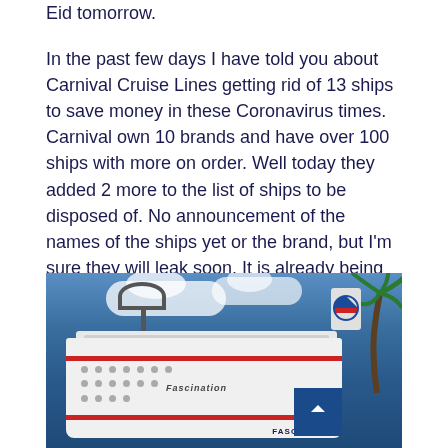Eid tomorrow.
In the past few days I have told you about Carnival Cruise Lines getting rid of 13 ships to save money in these Coronavirus times. Carnival own 10 brands and have over 100 ships with more on order. Well today they added 2 more to the list of ships to be disposed of. No announcement of the names of the ships yet or the brand, but I'm sure they will leak soon. It is already being speculated that they could be Carnival Fascination and Carnival Imagination which were to be moth balled. Oh yes, Carnival also denied they are going to sell Cunard but didn't mention Seabourne.
[Figure (photo): Photograph of the Carnival Fascination cruise ship docked at port, with a blue sky and clouds in the background and a palm tree on the right side. The ship is white with red stripes and the Carnival logo visible.]